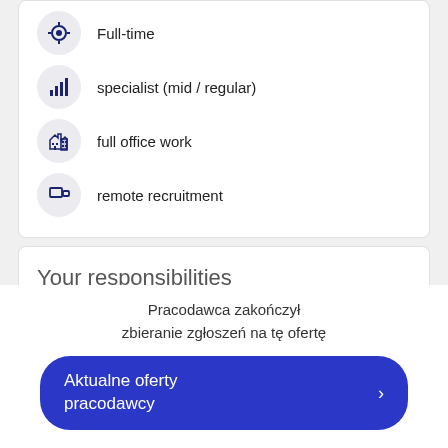Full-time
specialist (mid / regular)
full office work
remote recruitment
Your responsibilities
Closely interact with all functional disciplines of
Pracodawca zakończył zbieranie zgłoszeń na tę ofertę
Aktualne oferty pracodawcy